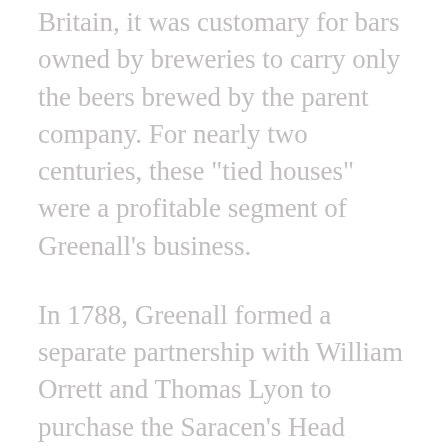Britain, it was customary for bars owned by breweries to carry only the beers brewed by the parent company. For nearly two centuries, these "tied houses" were a profitable segment of Greenall's business.
In 1788, Greenall formed a separate partnership with William Orrett and Thomas Lyon to purchase the Saracen's Head Brewery in nearby Wilderspool. Business was so good that within just three years the three partners undertook a £4,400 expansion of the operation.
The family business interests endured